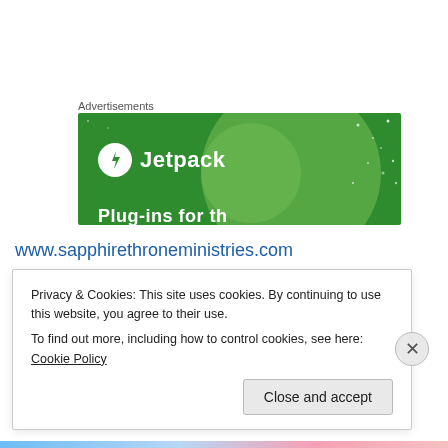Advertisements
[Figure (illustration): Jetpack advertisement banner with green background, Jetpack logo (white circle with lightning bolt and 'Jetpack' text), decorative circles and stars, partial text at bottom.]
www.sapphirethroneministries.com
www.santa-tizing.com
www.mysticmentoring.com
Privacy & Cookies: This site uses cookies. By continuing to use this website, you agree to their use.
To find out more, including how to control cookies, see here: Cookie Policy